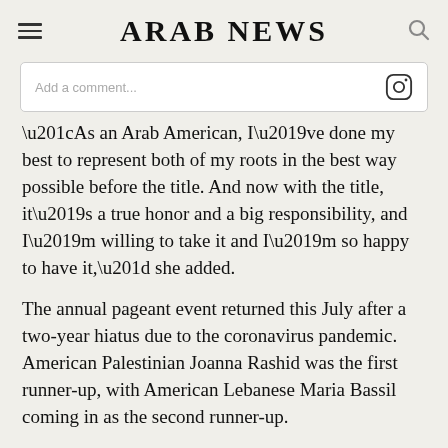ARAB NEWS
[Figure (screenshot): Comment input box with Instagram icon on the right]
“As an Arab American, I’ve done my best to represent both of my roots in the best way possible before the title. And now with the title, it’s a true honor and a big responsibility, and I’m willing to take it and I’m so happy to have it,” she added.
The annual pageant event returned this July after a two-year hiatus due to the coronavirus pandemic. American Palestinian Joanna Rashid was the first runner-up, with American Lebanese Maria Bassil coming in as the second runner-up.